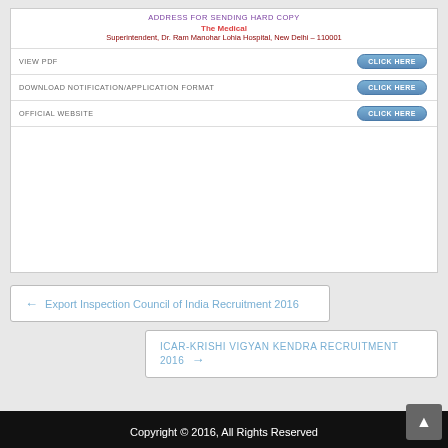ADDRESS FOR SENDING HARD COPY
The Medical
Superintendent, Dr. Ram Manohar Lohia Hospital, New Delhi – 110001
|  |  |
| --- | --- |
| VIEW PDF | CLICK HERE |
| DOWNLOAD NOTIFICATION/APPLICATION FORMAT | CLICK HERE |
| OFFICIAL WEBSITE | CLICK HERE |
← Export Inspection Council of India Recruitment 2016
ICAR-KRISHI VIGYAN KENDRA RECRUITMENT 2016 →
Copyright © 2016, All Rights Reserved